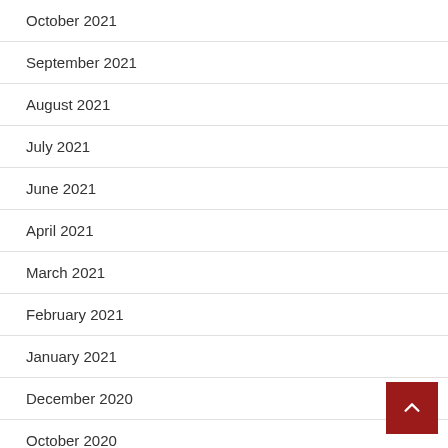October 2021
September 2021
August 2021
July 2021
June 2021
April 2021
March 2021
February 2021
January 2021
December 2020
October 2020
August 2020
July 2020